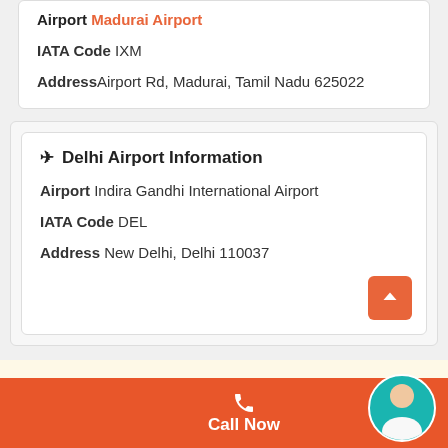Airport Madurai Airport
IATA Code IXM
Address Airport Rd, Madurai, Tamil Nadu 625022
Delhi Airport Information
Airport Indira Gandhi International Airport
IATA Code DEL
Address New Delhi, Delhi 110037
Call Now